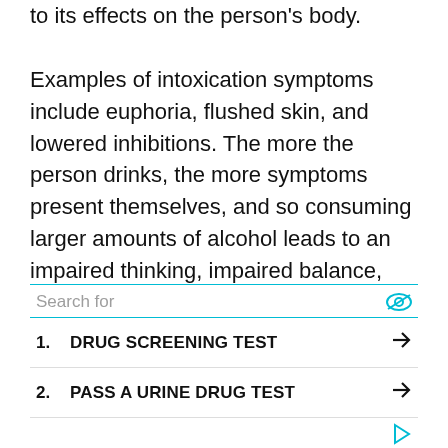to its effects on the person's body.

Examples of intoxication symptoms include euphoria, flushed skin, and lowered inhibitions. The more the person drinks, the more symptoms present themselves, and so consuming larger amounts of alcohol leads to an impaired thinking, impaired balance, nausea or vomiting, and inability to make competent decisions; which can result in violent or otherwise unpredictable behavior. More severe, even life-threatening, side effects can result from drinking an overabundance of alcohol, such as depression of the central nervous system to the point that the
[Figure (other): Advertisement widget with search bar labeled 'Search for', listing 1. DRUG SCREENING TEST and 2. PASS A URINE DRUG TEST with arrow icons, and a cyan eye icon and play icon.]